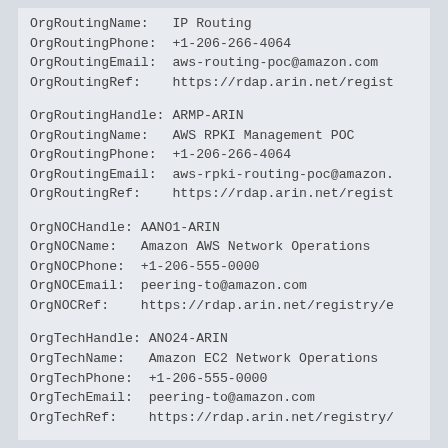OrgRoutingName:   IP Routing
OrgRoutingPhone:  +1-206-266-4064
OrgRoutingEmail:  aws-routing-poc@amazon.com
OrgRoutingRef:    https://rdap.arin.net/regist
OrgRoutingHandle: ARMP-ARIN
OrgRoutingName:   AWS RPKI Management POC
OrgRoutingPhone:  +1-206-266-4064
OrgRoutingEmail:  aws-rpki-routing-poc@amazon.
OrgRoutingRef:    https://rdap.arin.net/regist
OrgNOCHandle: AANO1-ARIN
OrgNOCName:   Amazon AWS Network Operations
OrgNOCPhone:  +1-206-555-0000
OrgNOCEmail:  peering-to@amazon.com
OrgNOCRef:    https://rdap.arin.net/registry/e
OrgTechHandle: ANO24-ARIN
OrgTechName:   Amazon EC2 Network Operations
OrgTechPhone:  +1-206-555-0000
OrgTechEmail:  peering-to@amazon.com
OrgTechRef:    https://rdap.arin.net/registry/